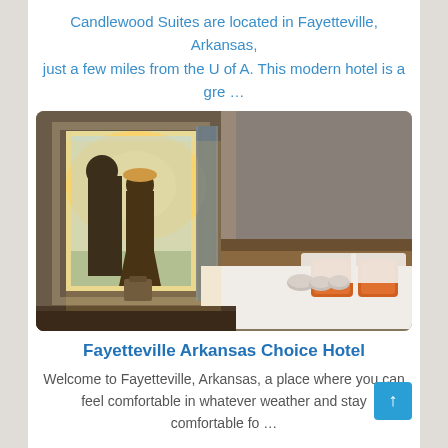Candlewood Suites are located in Fayetteville, Arkansas, just a few miles from the U of A. This modern hotel is a gre …
[Figure (photo): Hotel room photo showing a couple standing at a large window looking out onto a balcony/city view, with a large bed featuring orange accent pillows and rolled towels in the foreground]
Fayetteville Arkansas Choice Hotel
Welcome to Fayetteville, Arkansas, a place where you can feel comfortable in whatever weather and stay comfortable fo …